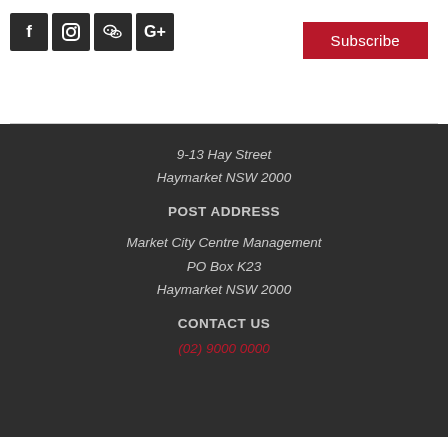[Figure (infographic): Social media icons: Facebook, Instagram, WeChat, Google+]
[Figure (infographic): Subscribe button (red background)]
9-13 Hay Street
Haymarket NSW 2000
POST ADDRESS
Market City Centre Management
PO Box K23
Haymarket NSW 2000
CONTACT US
(02) 9000 0000